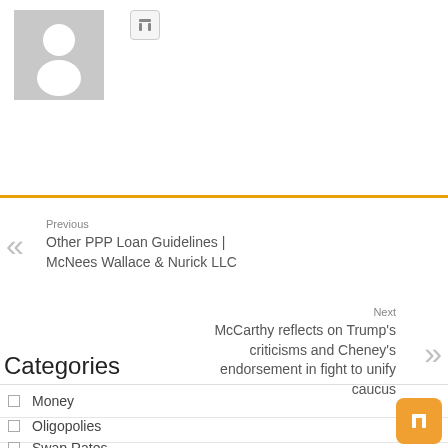[Figure (illustration): Gray placeholder avatar icon of a person silhouette]
Previous
Other PPP Loan Guidelines | McNees Wallace & Nurick LLC
Next
McCarthy reflects on Trump's criticisms and Cheney's endorsement in fight to unify caucus
Categories
Money
Oligopolies
Swap Rates
Unfair trade